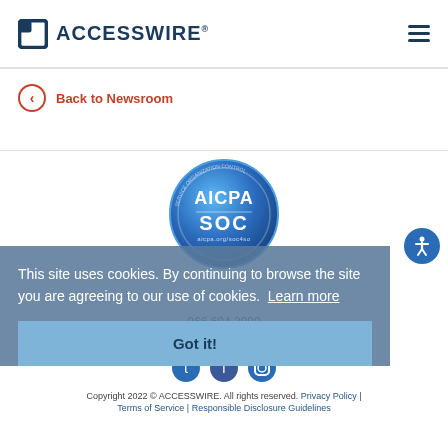[Figure (logo): ACCESSWIRE logo with square icon and hamburger menu]
Back to Newsroom
[Figure (logo): AICPA SOC certification badge - circular blue badge]
This site uses cookies. By continuing to browse the site you are agreeing to our use of cookies.  Learn more
Got it!
866.694.3099
Sales  Editorial  Content licensing
Copyright 2022 © ACCESSWIRE. All rights reserved. Privacy Policy | Terms of Service | Responsible Disclosure Guidelines